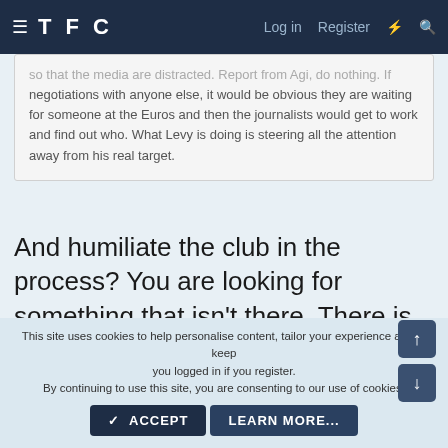TFC — Log in  Register
...so that the media are distracted. Report from Agi, do nothing. If negotiations with anyone else, it would be obvious they are waiting for someone at the Euros and then the journalists would get to work and find out who. What Levy is doing is steering all the attention away from his real target.
And humiliate the club in the process? You are looking for something that isn't there. There is no need for the club to degrade its reputation and enrage the fans just to keep Roberto Martinez under wraps (who has been linked constantly anyway).
This site uses cookies to help personalise content, tailor your experience and to keep you logged in if you register.
By continuing to use this site, you are consenting to our use of cookies.